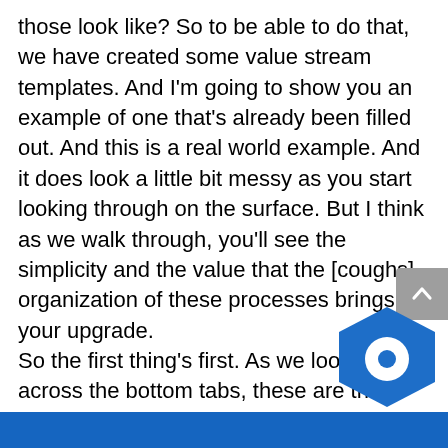those look like? So to be able to do that, we have created some value stream templates. And I'm going to show you an example of one that's already been filled out. And this is a real world example. And it does look a little bit messy as you start looking through on the surface. But I think as we walk through, you'll see the simplicity and the value that the [coughs] organization of these processes brings to your upgrade.
So the first thing's first. As we look down across the bottom tabs, these are the different elements of the value streams. MTS, make to stock, make to order, engineer to order, configure to order. RMA processing, service management, marketing, special projects